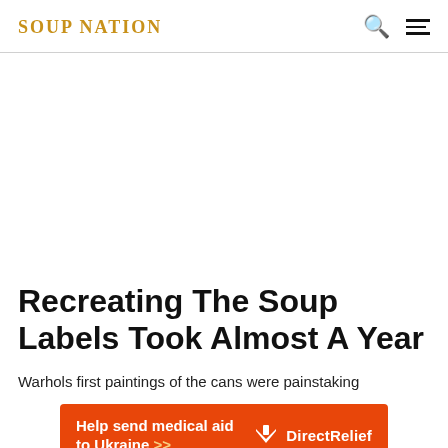SOUP NATION
Recreating The Soup Labels Took Almost A Year
Warhols first paintings of the cans were painstaking
[Figure (infographic): Orange Direct Relief advertisement banner reading 'Help send medical aid to Ukraine >>' with Direct Relief logo on the right]